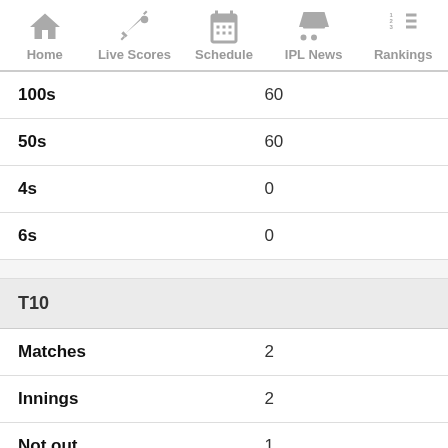Home | Live Scores | Schedule | IPL News | Rankings
| 100s | 60 |
| 50s | 60 |
| 4s | 0 |
| 6s | 0 |
| T10 |  |
| Matches | 2 |
| Innings | 2 |
| Not out | 1 |
| Runs | 61 |
| Highest score | 50 |